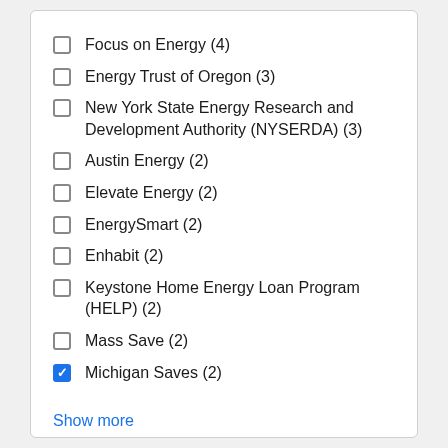Focus on Energy (4)
Energy Trust of Oregon (3)
New York State Energy Research and Development Authority (NYSERDA) (3)
Austin Energy (2)
Elevate Energy (2)
EnergySmart (2)
Enhabit (2)
Keystone Home Energy Loan Program (HELP) (2)
Mass Save (2)
Michigan Saves (2)
Show more